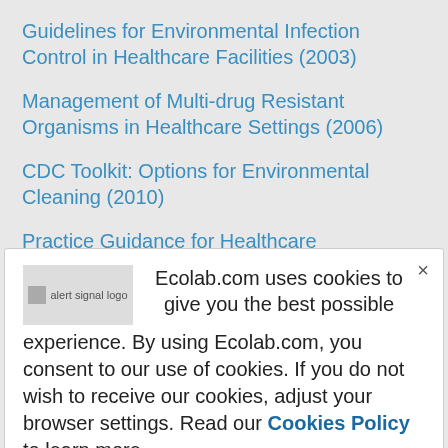Guidelines for Environmental Infection Control in Healthcare Facilities (2003)
Management of Multi-drug Resistant Organisms in Healthcare Settings (2006)
CDC Toolkit: Options for Environmental Cleaning (2010)
Practice Guidance for Healthcare Environmental Cleaning (2012) This manual is available for purchase from the Association for the Healthcare
Ecolab.com uses cookies to give you the best possible experience. By using Ecolab.com, you consent to our use of cookies. If you do not wish to receive our cookies, adjust your browser settings. Read our Cookies Policy to learn more.
[Figure (logo): Alert signal logo image placeholder]